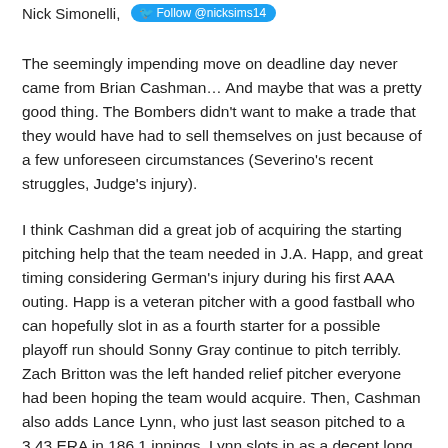Nick Simonelli, Follow @nicksims14
The seemingly impending move on deadline day never came from Brian Cashman… And maybe that was a pretty good thing. The Bombers didn't want to make a trade that they would have had to sell themselves on just because of a few unforeseen circumstances (Severino's recent struggles, Judge's injury).
I think Cashman did a great job of acquiring the starting pitching help that the team needed in J.A. Happ, and great timing considering German's injury during his first AAA outing. Happ is a veteran pitcher with a good fastball who can hopefully slot in as a fourth starter for a possible playoff run should Sonny Gray continue to pitch terribly. Zach Britton was the left handed relief pitcher everyone had been hoping the team would acquire. Then, Cashman also adds Lance Lynn, who just last season pitched to a 3.43 ERA in 186.1 innings. Lynn slots in as a decent long reliever who can also come in as a spot starter for injuries or even if Boone wants to add a sixth starter every few times